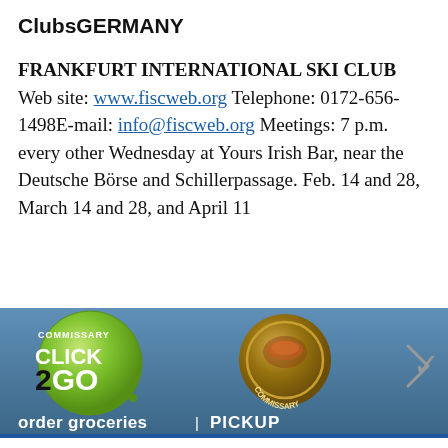ClubsGERMANY
FRANKFURT INTERNATIONAL SKI CLUB Web site: www.fiscweb.org Telephone: 0172-656-1498E-mail: info@fiscweb.org Meetings: 7 p.m. every other Wednesday at Yours Irish Bar, near the Deutsche Börse and Schillerpassage. Feb. 14 and 28, March 14 and 28, and April 11
[Figure (advertisement): Commissary Click2Go advertisement banner with green circular logo and commissary badge logo on blue background, with text 'order groceries']
Articles left: 4
Subscribe to get unlimited access Subscribe
Already have an account? Login here